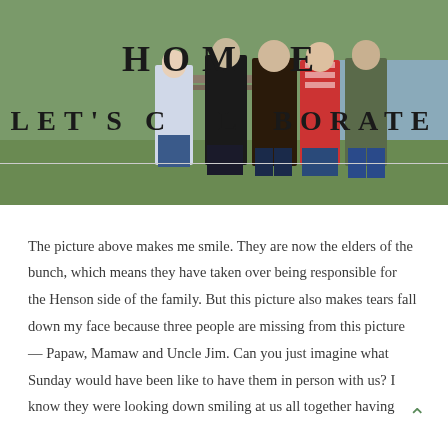[Figure (photo): Family group photo of five people standing outdoors near a wooden fence and pond, with text overlays reading HOME and LET'S COLLABORATE]
The picture above makes me smile. They are now the elders of the bunch, which means they have taken over being responsible for the Henson side of the family. But this picture also makes tears fall down my face because three people are missing from this picture — Papaw, Mamaw and Uncle Jim. Can you just imagine what Sunday would have been like to have them in person with us? I know they were looking down smiling at us all together having